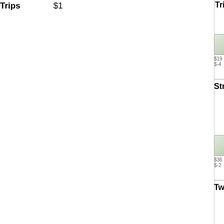Trips  $1...
[Figure (illustration): Row of face-down playing cards with amounts $19... and $-4...]
Straight  $+...
[Figure (illustration): Row of face-down playing cards with amounts $36... and $-2...]
Two Pair  $+...
[Figure (illustration): Poker hand showing cards 6 of diamonds, 5 of diamonds, and other cards]
Straight Flush
LEADERBOARD   TOURNAMENTS   FORUM   MEMBERSHIP   SE...
GPOKR - FREE TEXAS HOLDEM POKER
GPokr is a free texas holdem poker game that is played in monthly competitions.